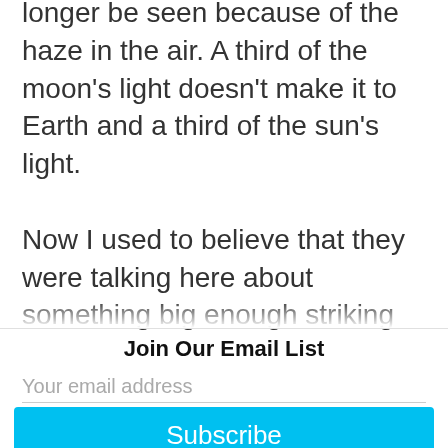longer be seen because of the haze in the air. A third of the moon's light doesn't make it to Earth and a third of the sun's light.
Now I used to believe that they were talking here about something big enough striking the Earth so that it spun us up, so the rotation went up to sixteen hours instead of twenty ▼
Join Our Email List
Your email address
Subscribe